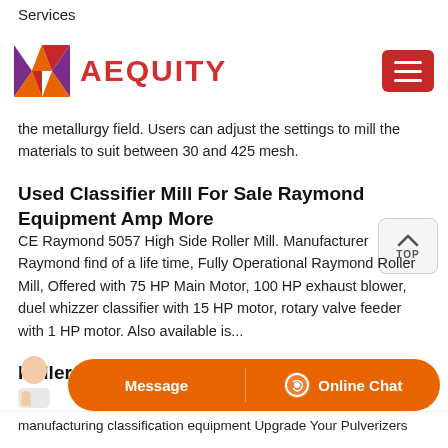Services
[Figure (logo): AEQUITY logo with geometric diamond/arrow shape in orange, red, purple, and a hamburger menu button on the right]
the metallurgy field. Users can adjust the settings to mill the materials to suit between 30 and 425 mesh.
Used Classifier Mill For Sale Raymond Equipment Amp More
CE Raymond 5057 High Side Roller Mill. Manufacturer Raymond find of a life time, Fully Operational Raymond Roller Mill, Offered with 75 HP Main Motor, 100 HP exhaust blower, duel whizzer classifier with 15 HP motor, rotary valve feeder with 1 HP motor. Also available is...
Roller Mills Classifiers
manufacturing classification equipment Upgrade Your Pulverizers